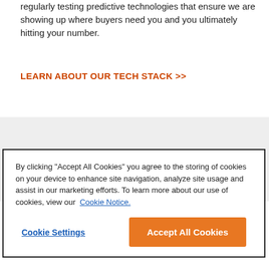regularly testing predictive technologies that ensure we are showing up where buyers need you and you ultimately hitting your number.
LEARN ABOUT OUR TECH STACK >>
By clicking "Accept All Cookies" you agree to the storing of cookies on your device to enhance site navigation, analyze site usage and assist in our marketing efforts. To learn more about our use of cookies, view our Cookie Notice.
Cookie Settings
Accept All Cookies